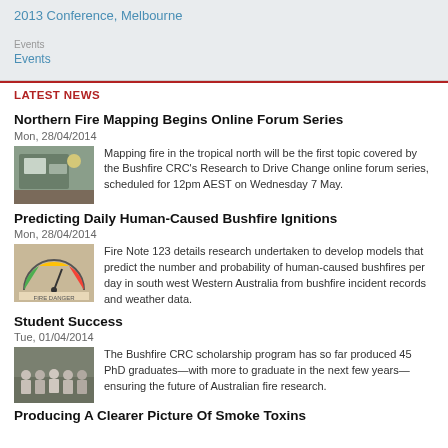2013 Conference, Melbourne
Events
LATEST NEWS
Northern Fire Mapping Begins Online Forum Series
Mon, 28/04/2014
[Figure (photo): Photo related to Northern Fire Mapping]
Mapping fire in the tropical north will be the first topic covered by the Bushfire CRC's Research to Drive Change online forum series, scheduled for 12pm AEST on Wednesday 7 May.
Predicting Daily Human-Caused Bushfire Ignitions
Mon, 28/04/2014
[Figure (photo): Fire danger rating gauge image]
Fire Note 123 details research undertaken to develop models that predict the number and probability of human-caused bushfires per day in south west Western Australia from bushfire incident records and weather data.
Student Success
Tue, 01/04/2014
[Figure (photo): Group photo of PhD graduates]
The Bushfire CRC scholarship program has so far produced 45 PhD graduates—with more to graduate in the next few years—ensuring the future of Australian fire research.
Producing A Clearer Picture Of Smoke Toxins